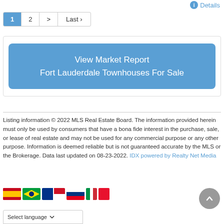Details
1  2  >  Last ›
[Figure (other): Blue rounded button reading 'View Market Report Fort Lauderdale Townhouses For Sale']
Listing information © 2022 MLS Real Estate Board. The information provided herein must only be used by consumers that have a bona fide interest in the purchase, sale, or lease of real estate and may not be used for any commercial purpose or any other purpose. Information is deemed reliable but is not guaranteed accurate by the MLS or the Brokerage. Data last updated on 08-23-2022. IDX powered by Realty Net Media
[Figure (illustration): Row of country flag icons: Spain, Brazil, France, Monaco/France, Russia, Italy, and a red flag]
[Figure (other): Gray circular scroll-to-top button with upward arrow]